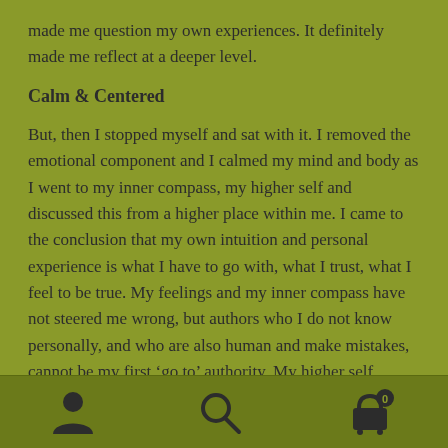made me question my own experiences.  It definitely made me reflect at a deeper level.
Calm & Centered
But, then I stopped myself and sat with it.  I removed the emotional component and I calmed my mind and body as I went to my inner compass, my higher self and discussed this from a higher place within me.  I came to the conclusion that my own intuition and personal experience is what I have to go with, what I trust, what I feel to be true.  My feelings and my inner compass have not steered me wrong, but authors who I do not know personally, and who are also human and make mistakes, cannot be my first ‘go to’ authority.  My higher self knows best for me
navigation bar with user, search, and cart icons